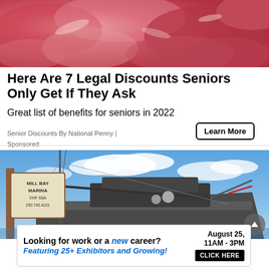[Figure (photo): Close-up photo of raw red meat pieces with pink tones]
Here Are 7 Legal Discounts Seniors Only Get If They Ask
Great list of benefits for seniors in 2022
Senior Discounts By National Penny | Sponsored
Learn More
[Figure (photo): Photo of a large yacht or sailboat docked at Mill Bay Marina, VHF 66A, 250.743.4101, with blue sky and clouds in the background]
[Figure (infographic): Bottom advertisement banner: Looking for work or a new career? August 25, 11AM-3PM. Featuring 25+ Exhibitors and Growing! CLICK HERE]